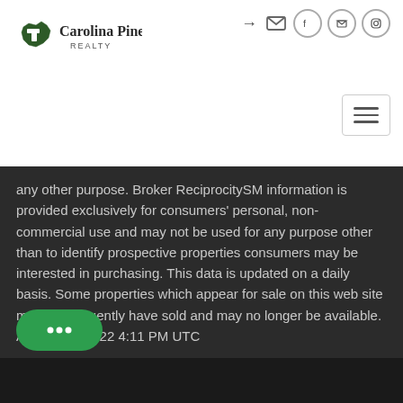[Figure (logo): Carolina Pines Realty logo with South Carolina state shape in dark green]
any other purpose. Broker ReciprocitySM information is provided exclusively for consumers' personal, non-commercial use and may not be used for any purpose other than to identify prospective properties consumers may be interested in purchasing. This data is updated on a daily basis. Some properties which appear for sale on this web site may subsequently have sold and may no longer be available. August 31, 2022 4:11 PM UTC